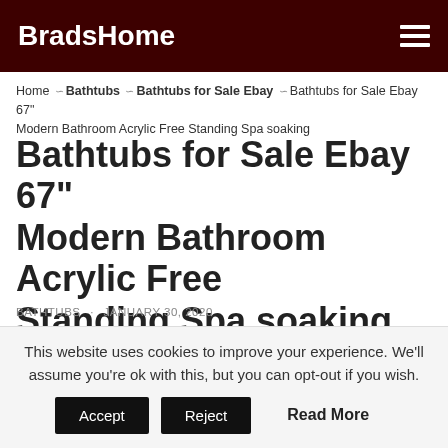BradsHome
Home ∽ Bathtubs ∽ Bathtubs for Sale Ebay ∽ Bathtubs for Sale Ebay 67" Modern Bathroom Acrylic Free Standing Spa soaking
Bathtubs for Sale Ebay 67" Modern Bathroom Acrylic Free Standing Spa soaking
BATHTUBS · JANUARY 30, 2020
Bathtubs for Sale Ebay 67" Modern Bathroom Acrylic Free Standing Spa soaking is one of the pictures that are related to the picture before in the collection gallery, uploaded by bradshomefurnishings.com. You can also look for some pictures that
This website uses cookies to improve your experience. We'll assume you're ok with this, but you can opt-out if you wish. Accept Reject Read More